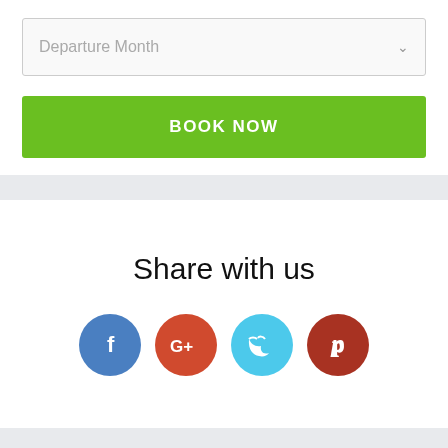Departure Month
BOOK NOW
Share with us
[Figure (infographic): Four social media share buttons: Facebook (blue circle with f), Google+ (red-orange circle with G+), Twitter (light blue circle with bird), Pinterest (dark red circle with p)]